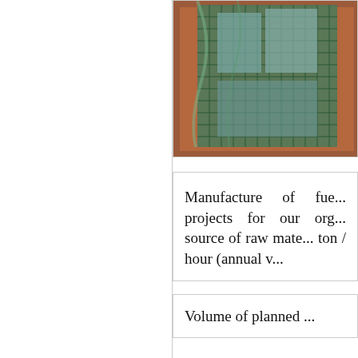[Figure (photo): A green mesh/net bag or material wrapped around rectangular blocks, placed on a reddish-brown surface. The netting appears to be over mineral or material samples.]
Manufacture of fue... projects for our org... source of raw mate... ton / hour (annual v...
Volume of planned ...